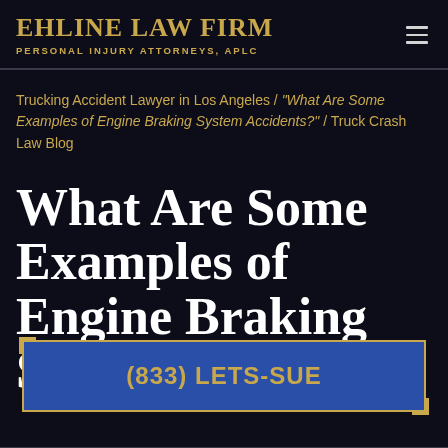EHLINE LAW FIRM PERSONAL INJURY ATTORNEYS, APLC
Trucking Accident Lawyer in Los Angeles / "What Are Some Examples of Engine Braking System Accidents?" / Truck Crash Law Blog
What Are Some Examples of Engine Braking System
(833) LETS-SUE